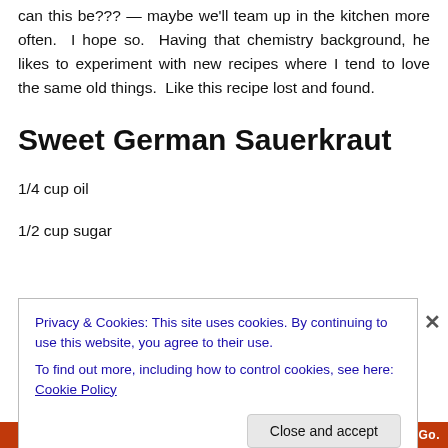can this be??? — maybe we'll team up in the kitchen more often.  I hope so.  Having that chemistry background, he likes to experiment with new recipes where I tend to love the same old things.  Like this recipe lost and found.
Sweet German Sauerkraut
1/4 cup oil
1/2 cup sugar
Privacy & Cookies: This site uses cookies. By continuing to use this website, you agree to their use.
To find out more, including how to control cookies, see here: Cookie Policy
Close and accept